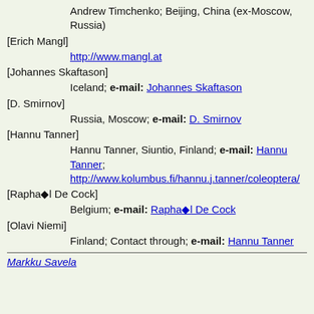Andrew Timchenko; Beijing, China (ex-Moscow, Russia)
[Erich Mangl]
http://www.mangl.at
[Johannes Skaftason]
Iceland; e-mail: Johannes Skaftason
[D. Smirnov]
Russia, Moscow; e-mail: D. Smirnov
[Hannu Tanner]
Hannu Tanner, Siuntio, Finland; e-mail: Hannu Tanner; http://www.kolumbus.fi/hannu.j.tanner/coleoptera/
[Raphël De Cock]
Belgium; e-mail: Raphël De Cock
[Olavi Niemi]
Finland; Contact through; e-mail: Hannu Tanner
Markku Savela